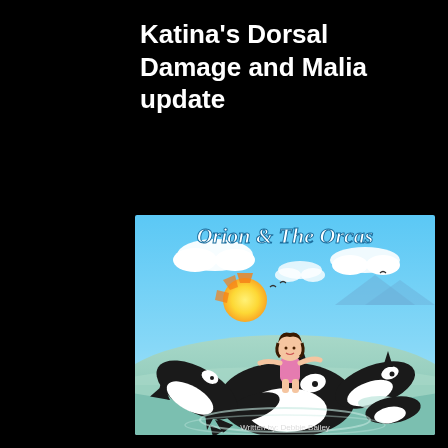Katina's Dorsal Damage and Malia update
[Figure (illustration): Book cover for 'Orion & The Orcas' written by Debbie Bailey. Features a cartoon girl riding on a large orca whale, with two other orcas beside her. Background shows sky with clouds, sun, and ocean water. Text 'Written by: Debbie Bailey' at bottom.]